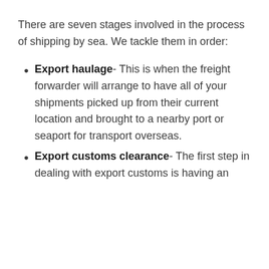There are seven stages involved in the process of shipping by sea. We tackle them in order:
Export haulage- This is when the freight forwarder will arrange to have all of your shipments picked up from their current location and brought to a nearby port or seaport for transport overseas.
Export customs clearance- The first step in dealing with export customs is having an